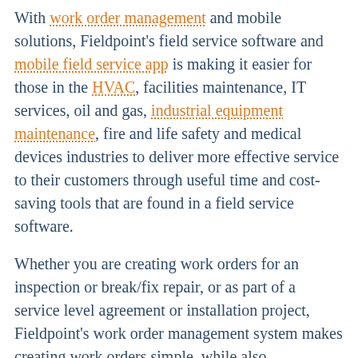With work order management and mobile solutions, Fieldpoint's field service software and mobile field service app is making it easier for those in the HVAC, facilities maintenance, IT services, oil and gas, industrial equipment maintenance, fire and life safety and medical devices industries to deliver more effective service to their customers through useful time and cost-saving tools that are found in a field service software.
Whether you are creating work orders for an inspection or break/fix repair, or as part of a service level agreement or installation project, Fieldpoint's work order management system makes creating work orders simple, while also